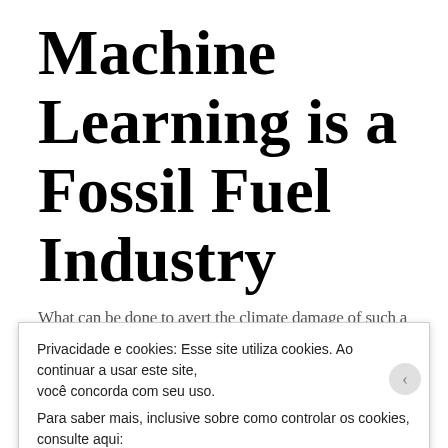Machine Learning is a Fossil Fuel Industry
What can be done to avert the climate damage of such a
Privacidade e cookies: Esse site utiliza cookies. Ao continuar a usar este site, você concorda com seu uso. Para saber mais, inclusive sobre como controlar os cookies, consulte aqui: Política de cookies
Fechar e aceitar